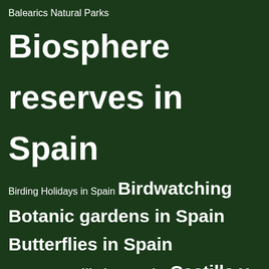[Figure (infographic): Tag cloud on dark green background showing nature/parks topics related to Spain, with varying font sizes indicating frequency/importance. Tags include: Balearics Natural Parks, Biosphere reserves in Spain, Birding Holidays in Spain, Birdwatching, Botanic gardens in Spain, Butterflies in Spain, Cantabria, Castilla la Mancha, Castilla y Leon, Frogs in Spain, Galicia, Iberian Lynx, Insects of Spain, Lizards in Spain, Lynx, Madrid, Mammals of Spain, Mantis in Spain, Murcia, National Parks in Spain, Natural parks in Andalucia, Natural Parks in Asturias, Natural Parks in Cantabria, Natural Parks in Castilla la Mancha, Natural parks in Castille y Leon, Natural Parks in Catalonia, Natural Parks in Extremadura, Natural Parks in Galicia, Natural Parks in País Vasco, Natural Parks in Spain, Natural Parks in Valencia]